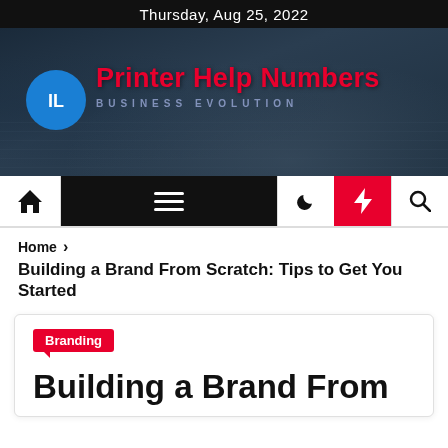Thursday, Aug 25, 2022
[Figure (logo): Printer Help Numbers website header banner with logo circle containing 'IL' monogram in blue, site name 'Printer Help Numbers' in red, and tagline 'BUSINESS EVOLUTION' on a dark desk/laptop background]
Printer Help Numbers
BUSINESS EVOLUTION
[Figure (screenshot): Navigation bar with home icon, hamburger menu on black background, moon icon, lightning bolt icon on red background, and search icon]
Home > Building a Brand From Scratch: Tips to Get You Started
Branding
Building a Brand From